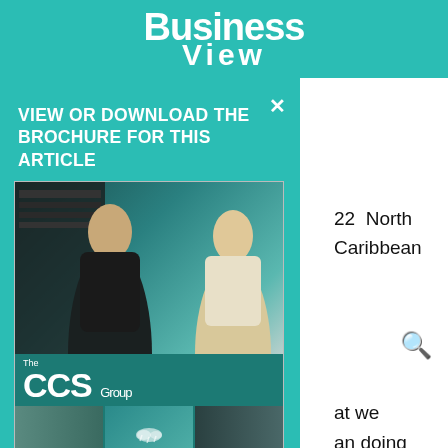Business View
VIEW OR DOWNLOAD THE BROCHURE FOR THIS ARTICLE
[Figure (photo): The CCS Group brochure cover showing two IT professionals working at server racks, with 'The CCS Group' text and three smaller images of cables, cloud, and data center at the bottom. URL www.ccs.bm shown at the bottom.]
22  North Caribbean
at we
an doing
ons, we
ccurring
n tight
ers and
ong term
then we
three